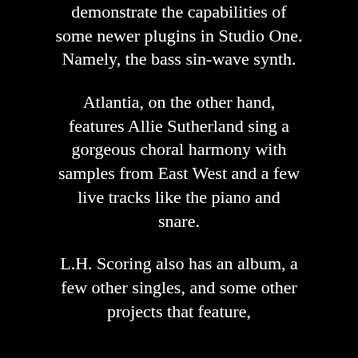demonstrate the capabilities of some newer plugins in Studio One. Namely, the bass sin-wave synth.
Atlantia, on the other hand, features Allie Sutherland sing a gorgeous choral harmony with samples from East West and a few live tracks like the piano and snare.
L.H. Scoring also has an album, a few other singles, and some other projects that feature,